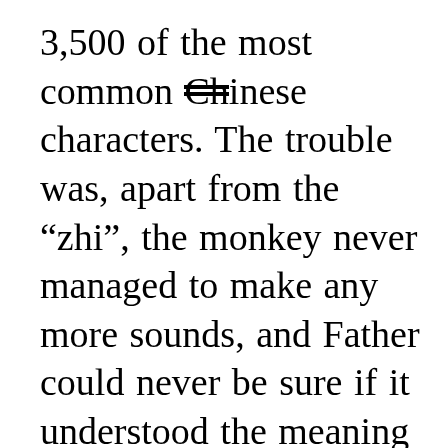3,500 of the most common Chinese characters. The trouble was, apart from the “zhi”, the monkey never managed to make any more sounds, and Father could never be sure if it understood the meaning of the characters. Perhaps because he was getting older, every time Father taught the monkey a character, he forgot it within a